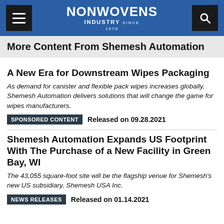NONWOVENS INDUSTRY
More Content From Shemesh Automation
A New Era for Downstream Wipes Packaging
As demand for canister and flexible pack wipes increases globally, Shemesh Automation delivers solutions that will change the game for wipes manufacturers.
SPONSORED CONTENT   Released on 09.28.2021
Shemesh Automation Expands US Footprint With The Purchase of a New Facility in Green Bay, WI
The 43,055 square-foot site will be the flagship venue for Shemesh's new US subsidiary, Shemesh USA Inc.
NEWS RELEASES   Released on 01.14.2021